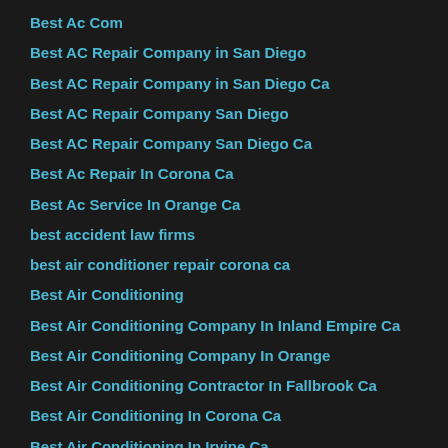Best Ac Com
Best AC Repair Company in San Diego
Best AC Repair Company in San Diego Ca
Best AC Repair Company San Diego
Best AC Repair Company San Diego Ca
Best Ac Repair In Corona Ca
Best Ac Service In Orange Ca
best accident law firms
best air conditioner repair corona ca
Best Air Conditioning
Best Air Conditioning Company In Inland Empire Ca
Best Air Conditioning Company In Orange
Best Air Conditioning Contractor In Fallbrook Ca
Best Air Conditioning In Corona Ca
Best Air Conditioning In Irvine Ca
Best Air Conditioning In Moreno Valley Ca
Best Air Conditioning Installation In Corona Ca